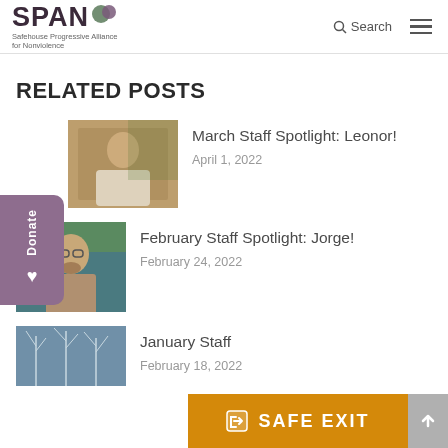SPAN Safehouse Progressive Alliance for Nonviolence — Search menu
RELATED POSTS
[Figure (photo): Photo of Leonor, a woman with glasses sitting outdoors]
March Staff Spotlight: Leonor!
April 1, 2022
[Figure (photo): Photo of Jorge, a young man with glasses and beard outdoors near a river]
February Staff Spotlight: Jorge!
February 24, 2022
[Figure (photo): Winter forest photo, blue-toned snowy trees]
January Staff
February 18, 2022